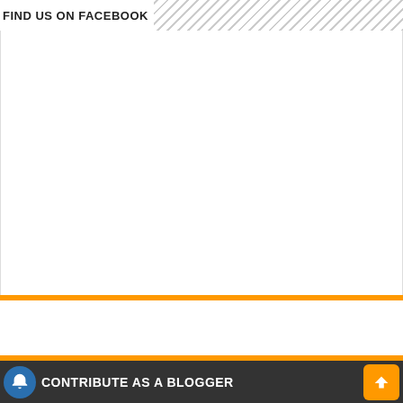FIND US ON FACEBOOK
[Figure (other): Empty white Facebook embed widget box with orange bottom border]
CONTRIBUTE AS A BLOGGER